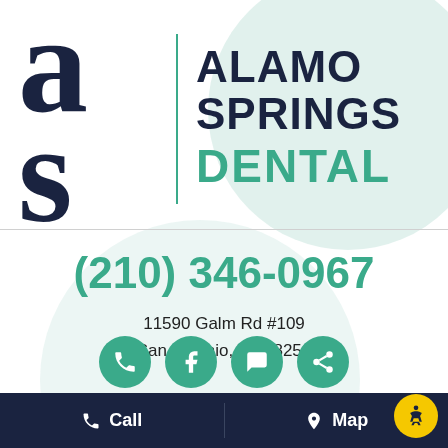[Figure (logo): Alamo Springs Dental logo with stylized 'as' letterform in dark navy, a teal vertical divider line, and the text ALAMO SPRINGS in dark navy bold uppercase and DENTAL in teal bold uppercase]
(210) 346-0967
11590 Galm Rd #109
San Antonio, TX 78254
[Figure (infographic): Row of four teal circular social media icons (phone/call, Facebook, email/message, share/link) at the bottom of the content area]
Call    Map